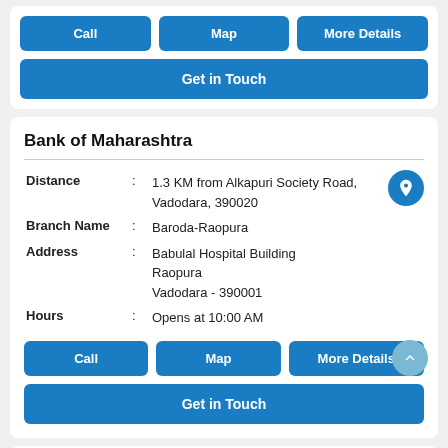[Figure (other): Three buttons: Call, Map, More Details in a row, and a Get in Touch button below]
Bank of Maharashtra
| Distance | : | 1.3 KM from Alkapuri Society Road, Vadodara, 390020 |
| Branch Name | : | Baroda-Raopura |
| Address | : | Babulal Hospital Building
Raopura
Vadodara - 390001 |
| Hours | : | Opens at 10:00 AM |
[Figure (other): Three buttons: Call, Map, More Details in a row, and a Get in Touch button below]
Bank of Maharashtra ATM